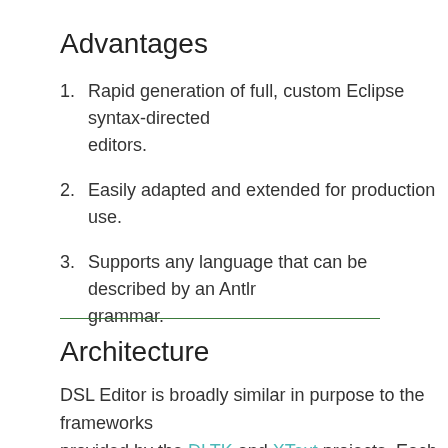Advantages
Rapid generation of full, custom Eclipse syntax-directed editors.
Easily adapted and extended for production use.
Supports any language that can be described by an Antlr grammar.
Architecture
DSL Editor is broadly similar in purpose to the frameworks provided by the DLTK and XText projects. Each supports the production of custom editors for Eclipse.
The implementing architectures are, however, entirely different